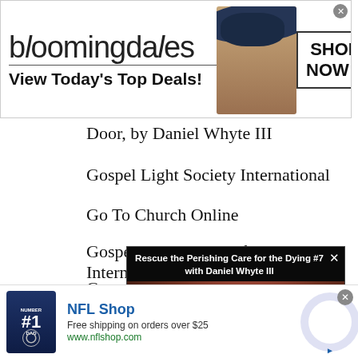[Figure (screenshot): Bloomingdale's advertisement banner: logo, 'View Today's Top Deals!', model in hat, 'SHOP NOW >' button]
Door, by Daniel Whyte III
Gospel Light Society International
Go To Church Online
Gospel Light House of Prayer International
Go...
See...
Th...
Th...
[Figure (screenshot): Video overlay: 'Rescue the Perishing Care for the Dying #7 with Daniel Whyte III' — thumbnail of a man with glasses, X close button]
[Figure (screenshot): NFL Shop advertisement banner at bottom: jersey image, 'NFL Shop', 'Free shipping on orders over $25', 'www.nflshop.com', arrow button]